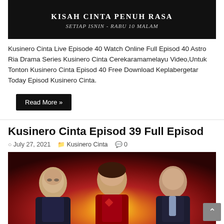[Figure (photo): Dark banner image with text 'KISAH CINTA PENUH RASA' and subtitle 'SETIAP ISNIN - RABU 10 MALAM' on black background]
Kusinero Cinta Live Episode 40 Watch Online Full Episod 40 Astro Ria Drama Series Kusinero Cinta Cerekaramamelayu Video,Untuk Tonton Kusinero Cinta Episod 40 Free Download Keplabergetar Today Episod Kusinero Cinta.
Read More »
Kusinero Cinta Episod 39 Full Episod
July 27, 2021   Kusinero Cinta   0
[Figure (photo): Drama promotional image showing three actors (two men and one woman) with dramatic lighting, red and orange tones]